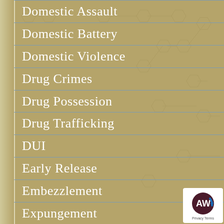Domestic Assault
Domestic Battery
Domestic Violence
Drug Crimes
Drug Possession
Drug Trafficking
DUI
Early Release
Embezzlement
Expungement
Expungement / Sealing
Records...